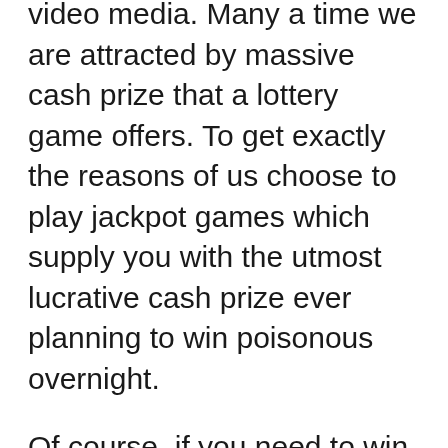video media. Many a time we are attracted by massive cash prize that a lottery game offers. To get exactly the reasons of us choose to play jackpot games which supply you with the utmost lucrative cash prize ever planning to win poisonous overnight.
Of course, if you need to win the lottery BIG, you must have a big goal! madhur matka does give your lottery winning strategy too soon, salvaging possibly since have set your goal too low. Make it your goal to win in with three months time, not 3 decades! Then, plan and take action to realize your goal by playing more on the lottery games that anyone biggest chance to win the lottery. According to the expert, normally these kinds with minimally number of balls and